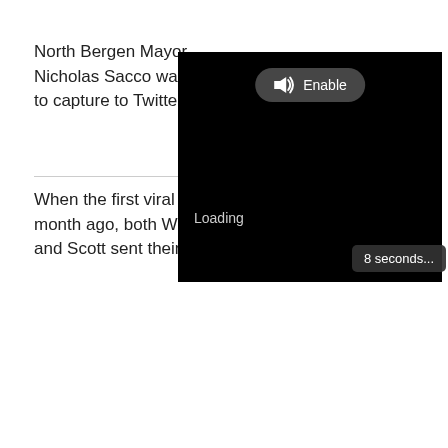North Bergen Mayor Nicholas Sacco was able to capture to Twitter:
When the first viral about a month ago, both Weaver and Scott sent their wishes.
[Figure (screenshot): A video player overlay showing a black video frame with an 'Enable' audio button at the top center, a 'Loading' text in the lower left, and an '8 seconds...' badge in the lower right corner.]